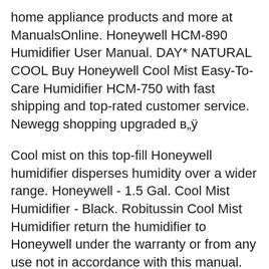home appliance products and more at ManualsOnline. Honeywell HCM-890 Humidifier User Manual. DAY* NATURAL COOL Buy Honeywell Cool Mist Easy-To-Care Humidifier HCM-750 with fast shipping and top-rated customer service. Newegg shopping upgraded в„ÿ
Cool mist on this top-fill Honeywell humidifier disperses humidity over a wider range. Honeywell - 1.5 Gal. Cool Mist Humidifier - Black. Robitussin Cool Mist Humidifier return the humidifier to Honeywell under the warranty or from any use not in accordance with this manual.
Buy a Used "Honeywell HCM350W